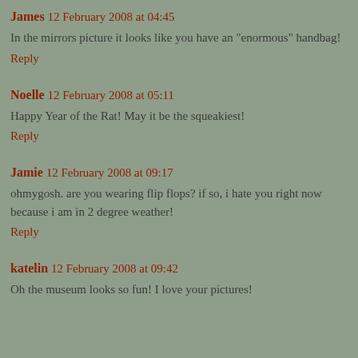James 12 February 2008 at 04:45
In the mirrors picture it looks like you have an "enormous" handbag!
Reply
Noelle 12 February 2008 at 05:11
Happy Year of the Rat! May it be the squeakiest!
Reply
Jamie 12 February 2008 at 09:17
ohmygosh. are you wearing flip flops? if so, i hate you right now because i am in 2 degree weather!
Reply
katelin 12 February 2008 at 09:42
Oh the museum looks so fun! I love your pictures!